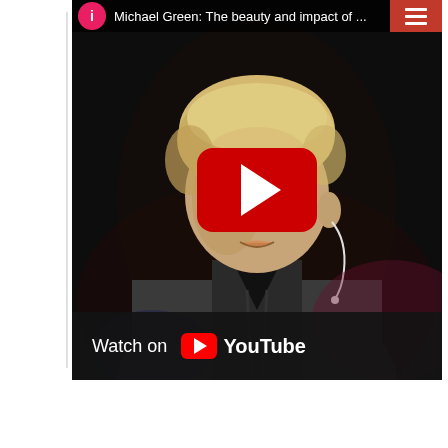[Figure (screenshot): YouTube video thumbnail/embed showing a man with blonde hair wearing a grey jacket and earpiece, speaking at what appears to be a TED talk or similar event. The video title reads 'Michael Green: The beauty and impact of ...' with a red play button overlay in the center. A hamburger menu icon appears in the upper right corner. At the bottom is a 'Watch on YouTube' bar.]